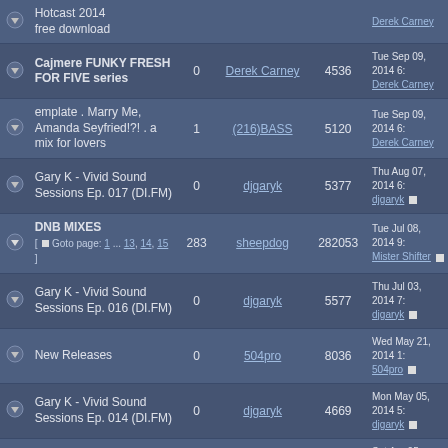|  | Title | Replies | Author | Views | Last Post |
| --- | --- | --- | --- | --- | --- |
| ▼ | Hotcast 2014 free download |  |  |  | Derek Carney |
| ▼ | Cajmere FUNKY FRESH FOR FIVE series | 0 | Derek Carney | 4536 | Tue Sep 09, 2014 6:  Derek Carney |
| ▼ | emplate . Marry Me, Amanda Seyfried!?! . a mix for lovers | 1 | (216)BASS | 5120 | Tue Sep 09, 2014 6:  Derek Carney |
| ▼ | Gary K - Vivid Sound Sessions Ep. 017 (DI.FM) | 0 | djgaryk | 5377 | Thu Aug 07, 2014 6:  djgaryk |
| ▼ | DNB MIXES [ Goto page: 1 ... 13, 14, 15 ] | 283 | sheepdog | 282053 | Tue Jul 08, 2014 9:  Mister Shifter |
| ▼ | Gary K - Vivid Sound Sessions Ep. 016 (DI.FM) | 0 | djgaryk | 5577 | Thu Jul 03, 2014 7:  djgaryk |
| ▼ | New Releases | 0 | 504pro | 8036 | Wed May 21, 2014 1:  504pro |
| ▼ | Gary K - Vivid Sound Sessions Ep. 014 (DI.FM) | 0 | djgaryk | 4669 | Mon May 05, 2014 5:  djgaryk |
| ▼ | Gary K - Vivid Sound Sessions Ep. 013 (DI.FM) | 0 | djgaryk | 4620 | Sat Apr 05, 2014 7:  djgaryk |
| ▼ | Gary K - Vivid Sound | 0 | djgaryk | 4531 | Fri Mar 07, 2014 10: |